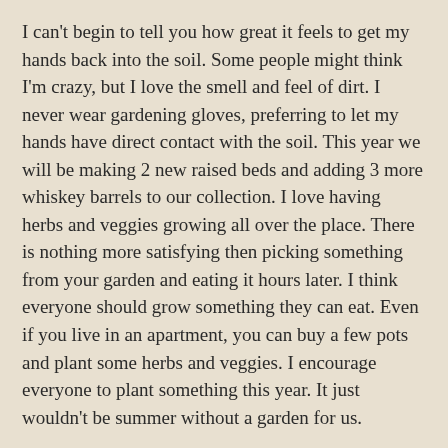I can't begin to tell you how great it feels to get my hands back into the soil. Some people might think I'm crazy, but I love the smell and feel of dirt. I never wear gardening gloves, preferring to let my hands have direct contact with the soil. This year we will be making 2 new raised beds and adding 3 more whiskey barrels to our collection. I love having herbs and veggies growing all over the place. There is nothing more satisfying then picking something from your garden and eating it hours later. I think everyone should grow something they can eat. Even if you live in an apartment, you can buy a few pots and plant some herbs and veggies. I encourage everyone to plant something this year. It just wouldn't be summer without a garden for us.
We enjoyed highs near 60 this weekend, quite unusual for March in New England, so we took full advantage and spent most of the day working in the sunshine. We raked the entire yard which was full of sticks and branches, John and Mitch mended a fence post that blew down in a bad storms a few months back, and then it was time to plant seedlings for the garden.